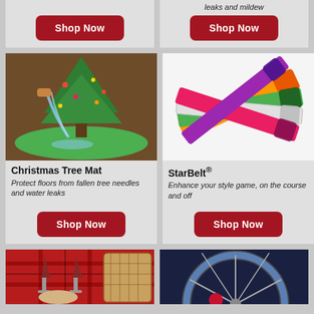[Figure (photo): Partially visible product card top-left with Shop Now button]
[Figure (photo): Partially visible product card top-right with italic text 'leaks and mildew' and Shop Now button]
[Figure (photo): Christmas Tree Mat product image showing green mat under a decorated Christmas tree]
Christmas Tree Mat
Protect floors from fallen tree needles and water leaks
[Figure (photo): StarBelt product image showing colorful belts in pink, green, orange, and white]
StarBelt®
Enhance your style game, on the course and off
[Figure (photo): Partially visible product card bottom-left showing a picnic scene with red plaid tablecloth, wine glasses, and wicker basket]
[Figure (photo): Partially visible product card bottom-right showing a bicycle wheel]